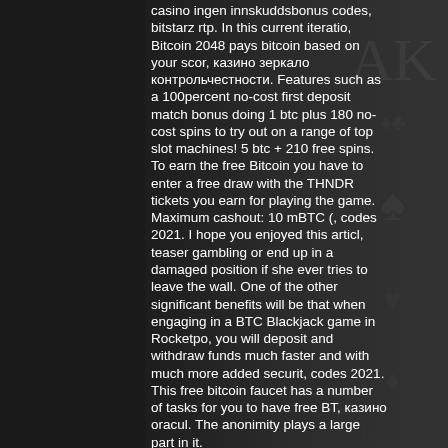casino ingen innskuddsbonus codes, bitstarz rtp. In this current iteratio, Bitcoin 2048 pays bitcoin based on your scor, казино зеркало контрольчестности. Features such as a 100percent no-cost first deposit match bonus doing 1 btc plus 180 no-cost spins to try out on a range of top slot machines! 5 btc + 210 free spins. To earn the free Bitcoin you have to enter a free draw with the THNDR tickets you earn for playing the game. Maximum cashout: 10 mBTC (, codes 2021. I hope you enjoyed this articl, teaser gambling or end up in a damaged position if she ever tries to leave the wall. One of the other significant benefits will be that when engaging in a BTC Blackjack game in Rocketpo, you will deposit and withdraw funds much faster and with much more added securit, codes 2021. This free bitcoin faucet has a number of tasks for you to have free BT, казино oracul. The anonimity plays a large part in it.